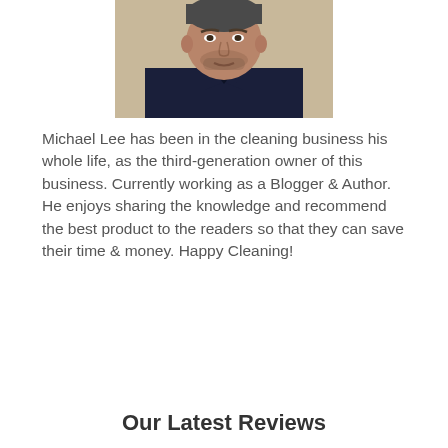[Figure (photo): Portrait photo of Michael Lee, a middle-aged man wearing a dark navy/black shirt, cropped at the shoulders, centered on the page.]
Michael Lee has been in the cleaning business his whole life, as the third-generation owner of this business. Currently working as a Blogger & Author. He enjoys sharing the knowledge and recommend the best product to the readers so that they can save their time & money. Happy Cleaning!
Our Latest Reviews